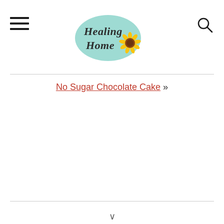Healing Home — navigation header with hamburger menu and search icon
No Sugar Chocolate Cake »